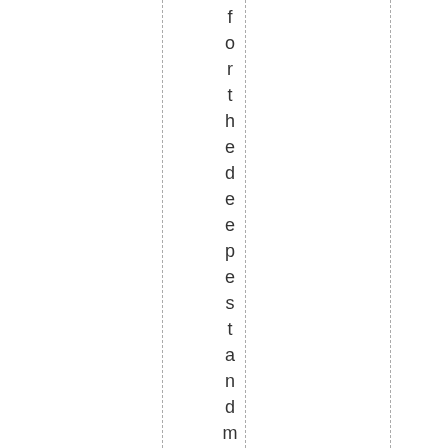for the deepest and most solem